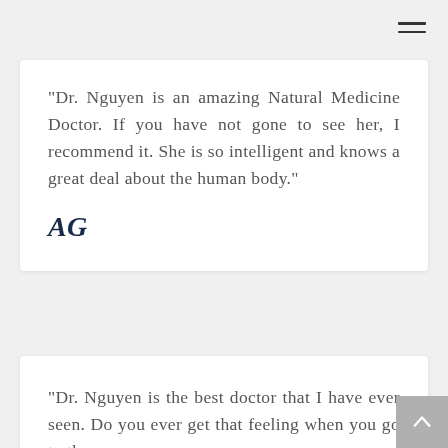[Figure (other): Hamburger menu icon (three horizontal lines) in the top right corner]
“Dr. Nguyen is an amazing Natural Medicine Doctor. If you have not gone to see her, I recommend it. She is so intelligent and knows a great deal about the human body.”
AG
“Dr. Nguyen is the best doctor that I have ever seen. Do you ever get that feeling when you go to the